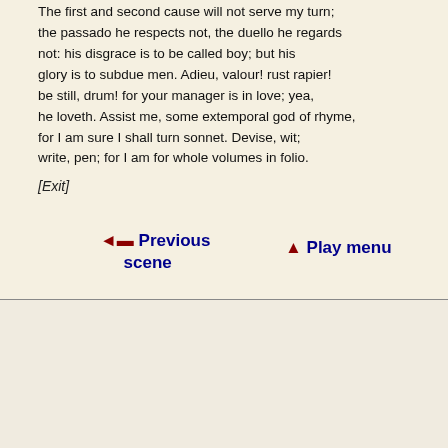The first and second cause will not serve my turn; the passado he respects not, the duello he regards not: his disgrace is to be called boy; but his glory is to subdue men. Adieu, valour! rust rapier! be still, drum! for your manager is in love; yea, he loveth. Assist me, some extemporal god of rhyme, for I am sure I shall turn sonnet. Devise, wit; write, pen; for I am for whole volumes in folio.
[Exit]
◄ Previous scene
▲ Play menu
[Figure (logo): George Mason University logo — green M and MASON text with gold swoosh, UNIVERSITY text below, partially cropped at right edge]